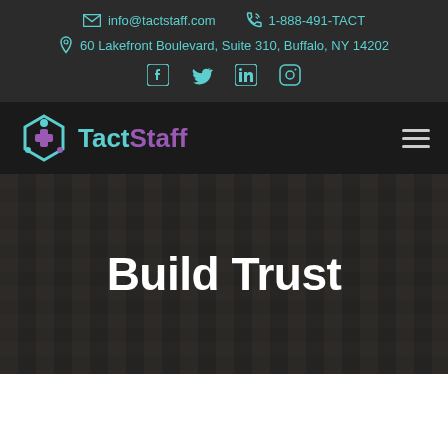info@tactstaff.com  1-888-491-TACT  60 Lakefront Boulevard, Suite 310, Buffalo, NY 14202
[Figure (logo): TactStaff logo with teal and purple hexagon icon and text reading TactStaff]
Build Trust